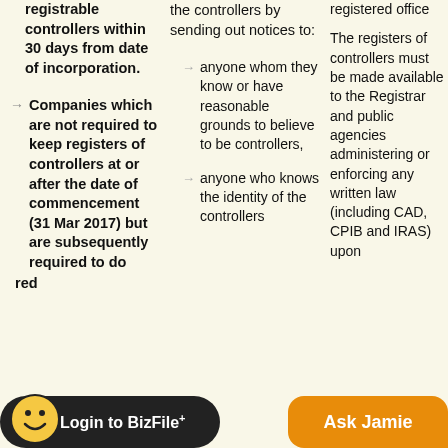registrable controllers within 30 days from date of incorporation.
Companies which are not required to keep registers of controllers at or after the date of commencement (31 Mar 2017) but are subsequently required to do [so]
the controllers by sending out notices to:
anyone whom they know or have reasonable grounds to believe to be controllers,
anyone who knows the identity of the controllers
registered office
The registers of controllers must be made available to the Registrar and public agencies administering or enforcing any written law (including CAD, CPIB and IRAS) upon
Login to BizFile+
Ask Jamie